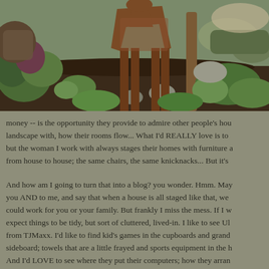[Figure (photo): A garden scene with a rusty metal deer/horse sculpture standing among lush green plants, dark mulch, rocks, and trees.]
money -- is the opportunity they provide to admire other people's hou landscape with, how their rooms flow... What I'd REALLY love is to but the woman I work with always stages their homes with furniture a from house to house; the same chairs, the same knicknacks... But it's
And how am I going to turn that into a blog? you wonder. Hmm. May you AND to me, and say that when a house is all staged like that, we could work for you or your family. But frankly I miss the mess. If I w expect things to be tidy, but sort of cluttered, lived-in. I like to see Ul from TJMaxx. I'd like to find kid's games in the cupboards and grand sideboard; towels that are a little frayed and sports equipment in the h And I'd LOVE to see where they put their computers; how they arran